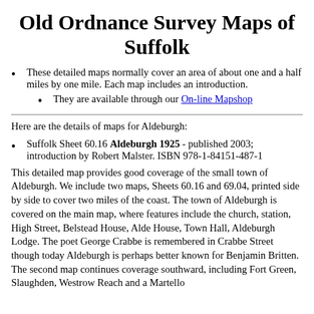Old Ordnance Survey Maps of Suffolk
These detailed maps normally cover an area of about one and a half miles by one mile. Each map includes an introduction.
They are available through our On-line Mapshop
Here are the details of maps for Aldeburgh:
Suffolk Sheet 60.16 Aldeburgh 1925 - published 2003; introduction by Robert Malster. ISBN 978-1-84151-487-1
This detailed map provides good coverage of the small town of Aldeburgh. We include two maps, Sheets 60.16 and 69.04, printed side by side to cover two miles of the coast. The town of Aldeburgh is covered on the main map, where features include the church, station, High Street, Belstead House, Alde House, Town Hall, Aldeburgh Lodge. The poet George Crabbe is remembered in Crabbe Street though today Aldeburgh is perhaps better known for Benjamin Britten. The second map continues coverage southward, including Fort Green, Slaughden, Westrow Reach and a Martello